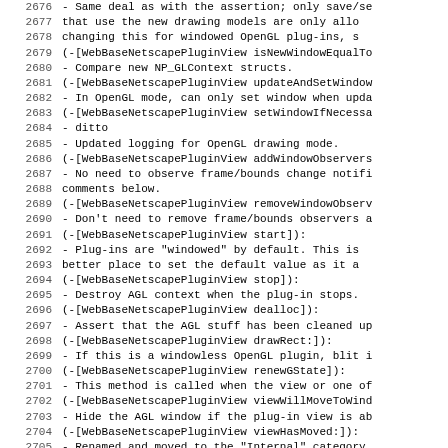Code listing lines 2676-2707, showing WebBaseNetscapePluginView method comments and descriptions